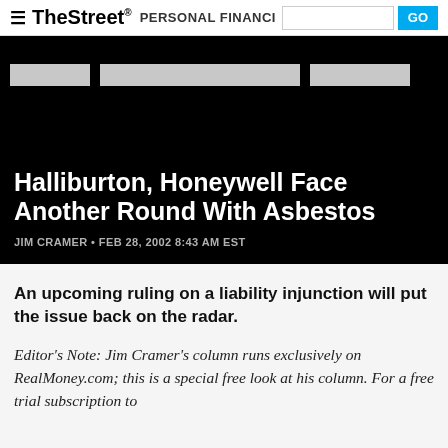TheStreet PERSONAL FINANCE
[Figure (screenshot): Black navigation band with three grey placeholder strips for navigation links]
Halliburton, Honeywell Face Another Round With Asbestos
JIM CRAMER • FEB 28, 2002 8:43 AM EST
An upcoming ruling on a liability injunction will put the issue back on the radar.
Editor's Note: Jim Cramer's column runs exclusively on RealMoney.com; this is a special free look at his column. For a free trial subscription to